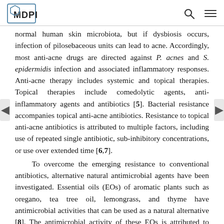MDPI
normal human skin microbiota, but if dysbiosis occurs, infection of pilosebaceous units can lead to acne. Accordingly, most anti-acne drugs are directed against P. acnes and S. epidermidis infection and associated inflammatory responses. Anti-acne therapy includes systemic and topical therapies. Topical therapies include comedolytic agents, anti-inflammatory agents and antibiotics [5]. Bacterial resistance accompanies topical anti-acne antibiotics. Resistance to topical anti-acne antibiotics is attributed to multiple factors, including use of repeated single antibiotic, sub-inhibitory concentrations, or use over extended time [6,7].
To overcome the emerging resistance to conventional antibiotics, alternative natural antimicrobial agents have been investigated. Essential oils (EOs) of aromatic plants such as oregano, tea tree oil, lemongrass, and thyme have antimicrobial activities that can be used as a natural alternative [8]. The antimicrobial activity of these EOs is attributed to their major constituents: Monoterpenoid phenols. In addition, EOs' minor constituents also contribute to antimicrobial observed...